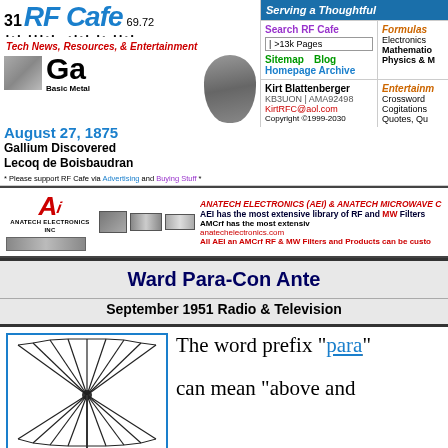31 RF Cafe 69.72
Serving a Thoughtful...
Tech News, Resources, & Entertainment
Ga Basic Metal
August 27, 1875
Gallium Discovered
Lecoq de Boisbaudran
* Please support RF Cafe via Advertising and Buying Stuff *
Search RF Cafe
>13k Pages
Sitemap Blog
Homepage Archive
Formulas
Electronics
Mathematics
Physics & M...
Kirt Blattenberger
KB3UON | AMA92498
KirtRFC@aol.com
Copyright ©1999-2030
Entertainm...
Crossword
Cogitations
Quotes, Qu...
[Figure (infographic): Anatech Electronics advertisement showing logo, product images of RF filters, and text]
ANATECH ELECTRONICS (AEI) & ANATECH MICROWAVE COMP...
AEI has the most extensive library of RF and MW Filters
AMCrf has the most extensive...
anatechelectronics.com
All AEI an AMCrf RF & MW Filters and Products can be custo...
Ward Para-Con Ante...
September 1951 Radio & Television...
[Figure (illustration): Antenna diagram showing a para-con antenna with multiple wire elements fanning out from a central feed point]
The word prefix "para" can mean "above and..."